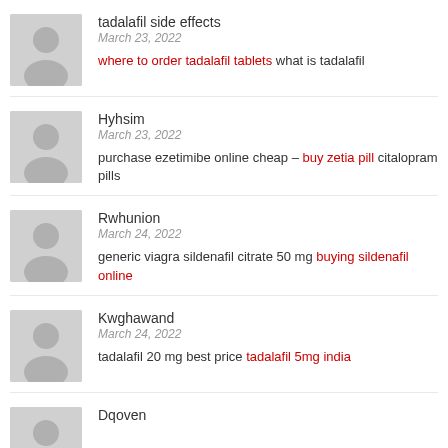tadalafil side effects
March 23, 2022
where to order tadalafil tablets what is tadalafil
Hyhsim
March 23, 2022
purchase ezetimibe online cheap – buy zetia pill citalopram pills
Rwhunion
March 24, 2022
generic viagra sildenafil citrate 50 mg buying sildenafil online
Kwghawand
March 24, 2022
tadalafil 20 mg best price tadalafil 5mg india
Dqoven